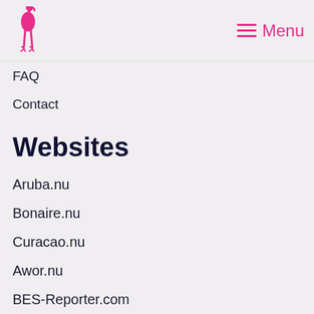Menu
FAQ
Contact
Websites
Aruba.nu
Bonaire.nu
Curacao.nu
Awor.nu
BES-Reporter.com
Nieuwsbrief